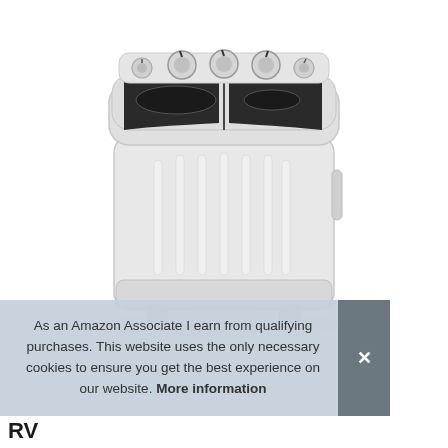[Figure (photo): A white twin-tub portable washing machine with black lid panels on top, four control knobs/dials, vertical ribbed body, and small feet. Product photo on white background.]
As an Amazon Associate I earn from qualifying purchases. This website uses the only necessary cookies to ensure you get the best experience on our website. More information
RV